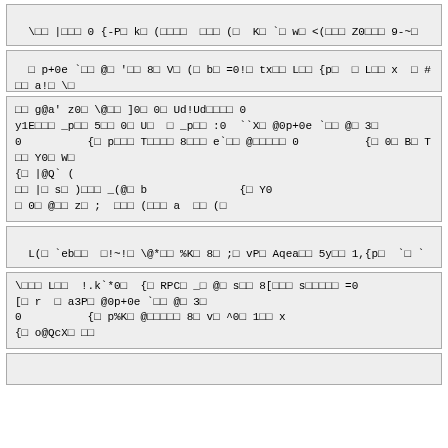\□□ |□□□ 0 {-P□ k□ (□□□□  □□□ (□  K□ `□ w□ <(□□□ Z0□□□ 9-~□
□ p+0e `□□ @□ '□□ 8□ V□ (□ b□ =0!□ tx□□ L□□ {p□  □ L□□ x  □ #□□ a!□ \□
□□ g@a' z0□ \@□□ ]0□ 0□ Ud!Ud□□□□ 0
y1E□□□ _p□□ 5□□ 0□ U□  □ _p□□ :0  ``X□ @0p+0e `□□ @□ 3□
0          {□ p□□□ T□□□□ 8□□□ e`□□ @□□□□□ 0          {□ 0□ B□ T  □□ Y0□ W□
{□ |@Q` (
□□ |□ s□ )□□□ _(@□ b              {□ Y0
□ 0□ @□□ z□ ;  □□□ (□□□ a  □□ (□
L(□ `eb□□  □!~!□ \@*□□ %K□ 8□ ;□ vP□ Aqea□□ 5y□□ 1,{p□  `□ `
\□□□ L□□  !.k`*0□  {□ RPC□ _□ @□ s□□ 8[□□□ s□□□□□ =0
[□ r  □ a3P□ @0p+0e `□□ @□ 3□
0          {□ p%K□ @□□□□□ 8□ v□ ^0□ 1□□ x
{□ o@QcX□ □□